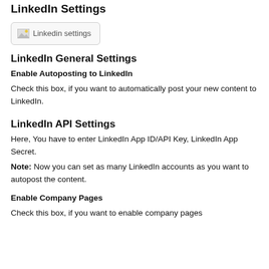LinkedIn Settings
[Figure (screenshot): Screenshot placeholder labeled 'Linkedin settings' with broken image icon]
LinkedIn General Settings
Enable Autoposting to LinkedIn
Check this box, if you want to automatically post your new content to LinkedIn.
LinkedIn API Settings
Here, You have to enter LinkedIn App ID/API Key, LinkedIn App Secret.
Note: Now you can set as many LinkedIn accounts as you want to autopost the content.
Enable Company Pages
Check this box, if you want to enable company pages